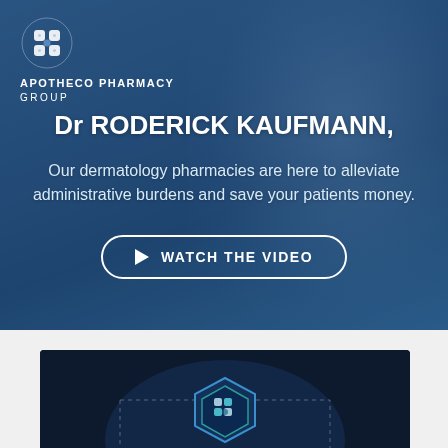[Figure (logo): Apotheco Pharmacy Group logo — white cross/pill icon above text APOTHECO PHARMACY GROUP]
Dr RODERICK KAUFMANN,
Our dermatology pharmacies are here to alleviate administrative burdens and save your patients money.
[Figure (other): WATCH THE VIDEO call-to-action button with play triangle icon, white outlined pill-shaped button]
[Figure (screenshot): Video thumbnail showing dark background with Apotheco Pharmacy Group hexagon logo icon in teal/blue and a play button arrow below it]